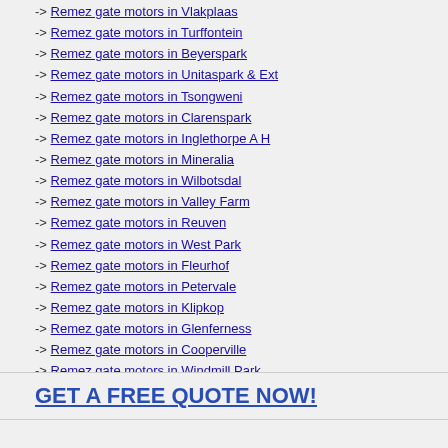-> Remez gate motors in Vlakplaas
-> Remez gate motors in Turffontein
-> Remez gate motors in Beyerspark
-> Remez gate motors in Unitaspark & Ext
-> Remez gate motors in Tsongweni
-> Remez gate motors in Clarenspark
-> Remez gate motors in Inglethorpe A H
-> Remez gate motors in Mineralia
-> Remez gate motors in Wilbotsdal
-> Remez gate motors in Valley Farm
-> Remez gate motors in Reuven
-> Remez gate motors in West Park
-> Remez gate motors in Fleurhof
-> Remez gate motors in Petervale
-> Remez gate motors in Klipkop
-> Remez gate motors in Glenferness
-> Remez gate motors in Cooperville
-> Remez gate motors in Windmill Park
-> Remez gate motors in Woodlands
GET A FREE QUOTE NOW!